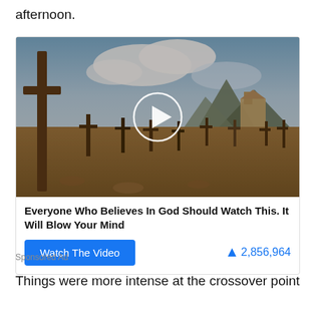afternoon.
[Figure (screenshot): Video thumbnail showing a cemetery with wooden crosses in a desert landscape with mountains and cloudy sky in the background, with a circular play button overlay in the center.]
Everyone Who Believes In God Should Watch This. It Will Blow Your Mind
Watch The Video    🔥 2,856,964
Sponsored Ad
Things were more intense at the crossover point